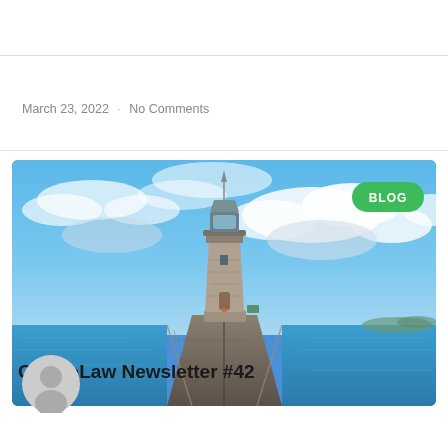READ MORE »
March 23, 2022 · No Comments
[Figure (photo): Photograph of a stone lighthouse at the end of a long pier, with dramatic blue cloudy sky and blue water on both sides. A green 'BLOG' badge is overlaid in the top-right corner. A circular avatar/user icon is overlaid at the bottom-left.]
CryptoLaw Newsletter #42